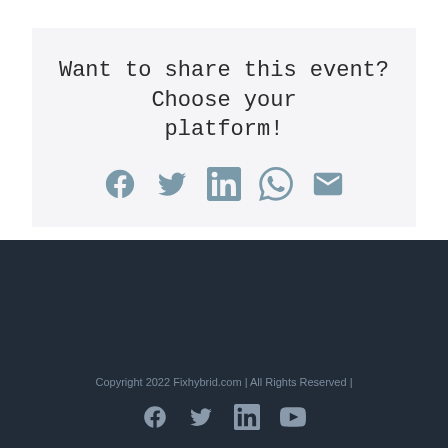Want to share this event? Choose your platform!
[Figure (infographic): Social sharing icons: Facebook, Twitter, LinkedIn, WhatsApp, Email — shown in muted teal/blue color]
Copyright 2022 Fixhybrid.com | All Rights Reserved |
[Figure (infographic): Footer social icons: Facebook, Twitter, LinkedIn, YouTube — shown in muted blue-grey color]